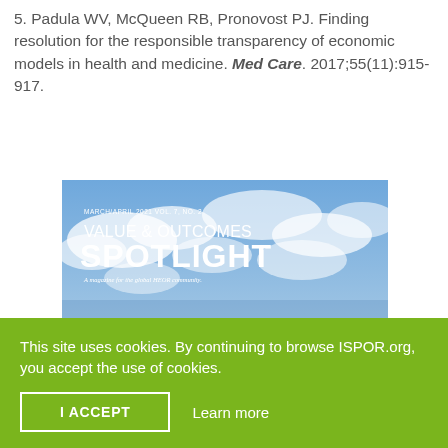5. Padula WV, McQueen RB, Pronovost PJ. Finding resolution for the responsible transparency of economic models in health and medicine. Med Care. 2017;55(11):915-917.
[Figure (photo): Magazine cover of Value & Outcomes Spotlight, March/April 2021, Vol. 7, No. 2. Sky background with text: VALUE & OUTCOMES SPOTLIGHT, A magazine for the global HEOR community, NAVIGATING]
This site uses cookies. By continuing to browse ISPOR.org, you accept the use of cookies.